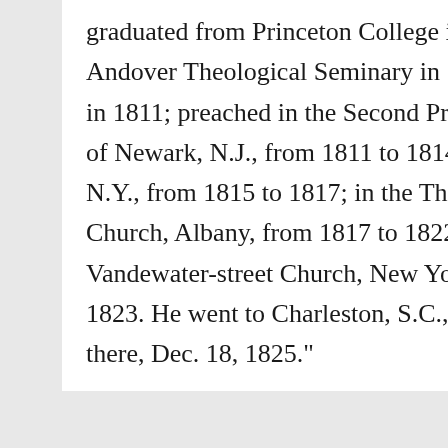graduated from Princeton College in 1805, and from Andover Theological Seminary in 1810; was ordained in 1811; preached in the Second Presbyterian Church of Newark, N.J., from 1811 to 1814; at Schenectady, N.Y., from 1815 to 1817; in the Third Presbyterian Church, Albany, from 1817 to 1822; and in the Vandewater-street Church, New York city, in 1822 and 1823. He went to Charleston, S.C., in 1824, and died there, Dec. 18, 1825."
Cumming married at least once. Only a few days after the marriage, his wife fell to her death at Passiac Falls. The famous lawyer Hooper Cumming Van Vorst